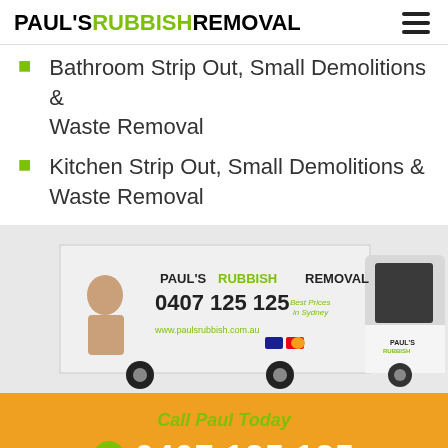PAUL'S RUBBISH REMOVAL
Bathroom Strip Out, Small Demolitions & Waste Removal
Kitchen Strip Out, Small Demolitions & Waste Removal
[Figure (photo): Paul's Rubbish Removal branded white truck showing logo, phone number 0407 125 125, and website www.paulsrubbish.com.au with a man giving thumbs up]
Call Paul Today
0407 125 125